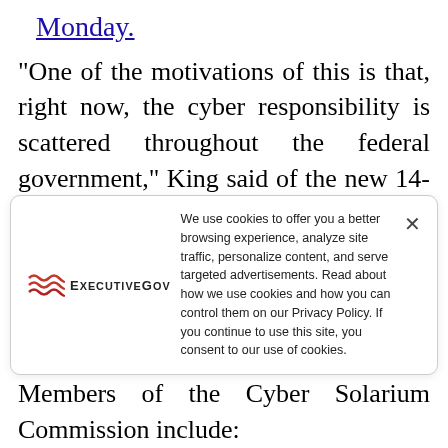Monday.
“One of the motivations of this is that, right now, the cyber responsibility is scattered throughout the federal government,” King said of the new 14-member commission. “There’s no central leadership and there’s no policy that our adversaries – or our allies for that matter – can discern about what we’re going to do in a particular situation.... until we clarify that, we’re going to keep getting hit.”
[Figure (logo): ExecutiveGov logo with red wave lines and text]
We use cookies to offer you a better browsing experience, analyze site traffic, personalize content, and serve targeted advertisements. Read about how we use cookies and how you can control them on our Privacy Policy. If you continue to use this site, you consent to our use of cookies.
Members of the Cyber Solarium Commission include: